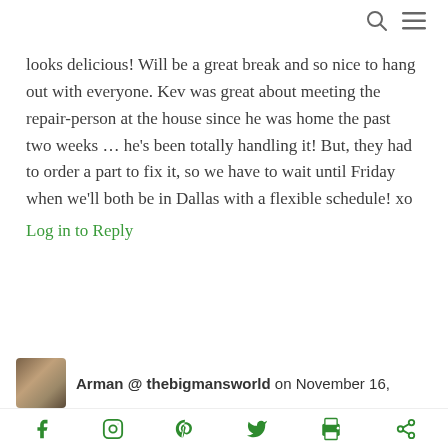[search icon] [menu icon]
looks delicious! Will be a great break and so nice to hang out with everyone. Kev was great about meeting the repair-person at the house since he was home the past two weeks … he's been totally handling it! But, they had to order a part to fix it, so we have to wait until Friday when we'll both be in Dallas with a flexible schedule! xo
Log in to Reply
Arman @ thebigmansworld on November 16,